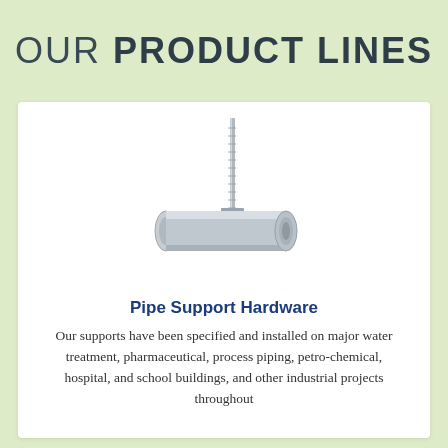OUR PRODUCT LINES
[Figure (illustration): 3D rendering of a pipe support hardware component: a horizontal cylindrical pipe with a vertical threaded rod attached via a bracket/clamp fitting]
Pipe Support Hardware
Our supports have been specified and installed on major water treatment, pharmaceutical, process piping, petro-chemical, hospital, and school buildings, and other industrial projects throughout